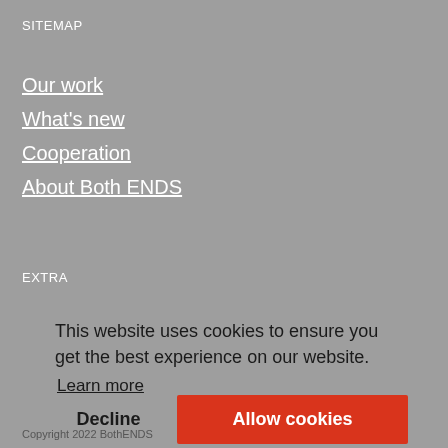SITEMAP
Our work
What's new
Cooperation
About Both ENDS
EXTRA
This website uses cookies to ensure you get the best experience on our website.
Learn more
Decline
Allow cookies
Copyright 2022 BothENDS